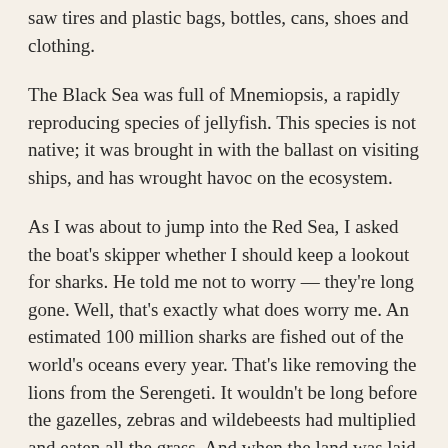saw tires and plastic bags, bottles, cans, shoes and clothing.
The Black Sea was full of Mnemiopsis, a rapidly reproducing species of jellyfish. This species is not native; it was brought in with the ballast on visiting ships, and has wrought havoc on the ecosystem.
As I was about to jump into the Red Sea, I asked the boat's skipper whether I should keep a lookout for sharks. He told me not to worry — they're long gone. Well, that's exactly what does worry me. An estimated 100 million sharks are fished out of the world's oceans every year. That's like removing the lions from the Serengeti. It wouldn't be long before the gazelles, zebras and wildebeests had multiplied and eaten all the grass. And when the land was laid bare the grazers would starve. Predators are crucial for a healthy ecosystem, be it on land or in the water.
I'm 44 years old. I like to think I'm only halfway through my life. That's hardly a comforting thought, though, when I imagine the changes in the oceans in the first half of my life continuing into the second. World population is expected to grow from seven billion to nine billion. As developing countries become developed, they will demand more resources like fuel, fresh water and food. Much of